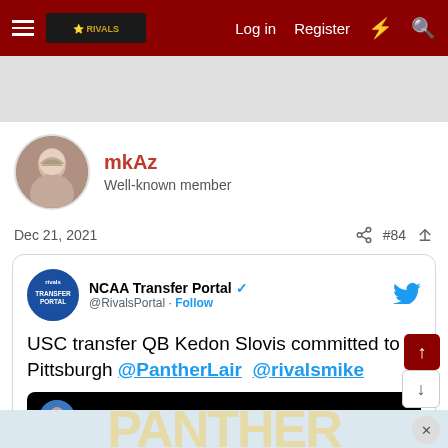Log in  Register
[Figure (screenshot): User avatar photo of mkAz, an older woman with gray hair]
mkAz
Well-known member
Dec 21, 2021  #84
[Figure (screenshot): Embedded tweet from @RivalsPortal (NCAA Transfer Portal, verified) with Twitter bird icon. Tweet reads: USC transfer QB Kedon Slovis committed to Pittsburgh @PantherLair @rivalsmike. Below is an embedded Instagram post from kedonslovis (verified).]